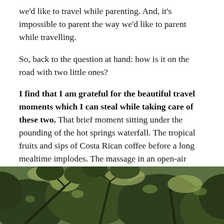we'd like to travel while parenting. And, it's impossible to parent the way we'd like to parent while travelling.
So, back to the question at hand: how is it on the road with two little ones?
I find that I am grateful for the beautiful travel moments which I can steal while taking care of these two. That brief moment sitting under the pounding of the hot springs waterfall. The tropical fruits and sips of Costa Rican coffee before a long mealtime implodes. The massage in an open-air bungalow and speedy zipline tour while my wife takes care of the little ones.
[Figure (photo): Photo of tropical tree canopy with green foliage and sunlight filtering through leaves, likely Costa Rica jungle scene.]